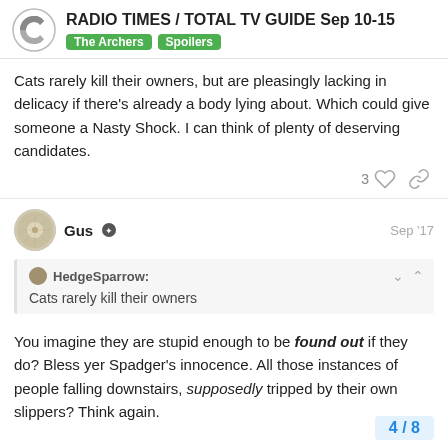RADIO TIMES / TOTAL TV GUIDE Sep 10-15 | The Archers | Spoilers
Cats rarely kill their owners, but are pleasingly lacking in delicacy if there's already a body lying about. Which could give someone a Nasty Shock. I can think of plenty of deserving candidates.
Gus  Sep '17
HedgeSparrow: Cats rarely kill their owners
You imagine they are stupid enough to be found out if they do? Bless yer Spadger's innocence. All those instances of people falling downstairs, supposedly tripped by th... slippers? Think again.
4 / 8